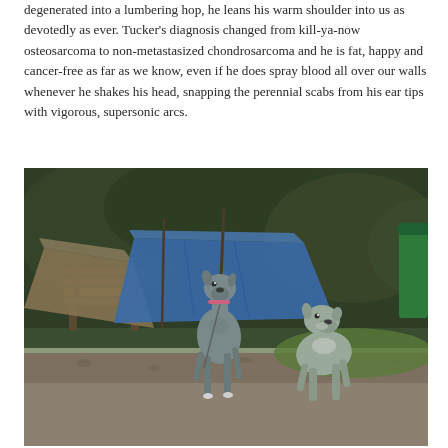degenerated into a lumbering hop, he leans his warm shoulder into us as devotedly as ever. Tucker's diagnosis changed from kill-ya-now osteosarcoma to non-metastasized chondrosarcoma and he is fat, happy and cancer-free as far as we know, even if he does spray blood all over our walls whenever he shakes his head, snapping the perennial scabs from his ear tips with vigorous, supersonic arcs.
[Figure (photo): Two dogs running on a paved path in a park or garden setting. The dog on the left is a tall, lean grey dog (possibly a Great Dane or greyhound mix) with a pink collar. The dog on the right is a smaller grey and white dog. In the background there are tarpaulins/tarps, a wooden bench, green foliage, and a green wheelie bin on the right.]